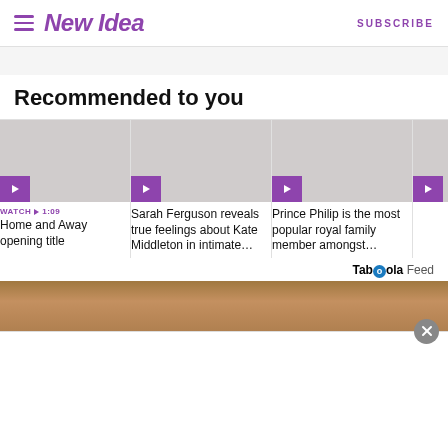New Idea | SUBSCRIBE
Recommended to you
[Figure (screenshot): Video thumbnail card 1 - gray placeholder with purple play button, labeled WATCH 1:09 / Home and Away opening title]
WATCH ▶ 1:09
Home and Away opening title
[Figure (screenshot): Video thumbnail card 2 - gray placeholder with purple play button]
Sarah Ferguson reveals true feelings about Kate Middleton in intimate…
[Figure (screenshot): Video thumbnail card 3 - gray placeholder with purple play button]
Prince Philip is the most popular royal family member amongst…
[Figure (screenshot): Partial video thumbnail card 4 - partially visible]
In… a… P…
Taboola Feed
[Figure (photo): Partial photo at bottom of page showing a person, brownish background]
[Figure (screenshot): Advertisement overlay with close (x) button]